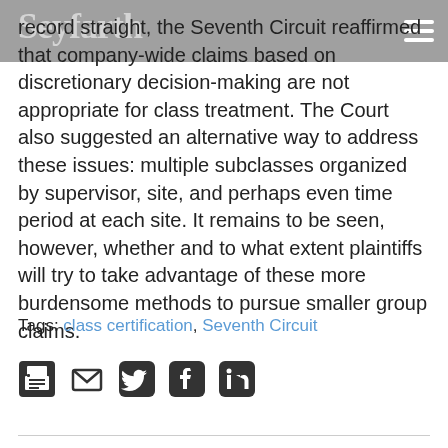Seyfarth
record straight, the Seventh Circuit reaffirmed that company-wide claims based on discretionary decision-making are not appropriate for class treatment. The Court also suggested an alternative way to address these issues: multiple subclasses organized by supervisor, site, and perhaps even time period at each site. It remains to be seen, however, whether and to what extent plaintiffs will try to take advantage of these more burdensome methods to pursue smaller group claims.
Tags: class certification, Seventh Circuit
[Figure (other): Row of social sharing icons: print, email, Twitter, Facebook, LinkedIn]